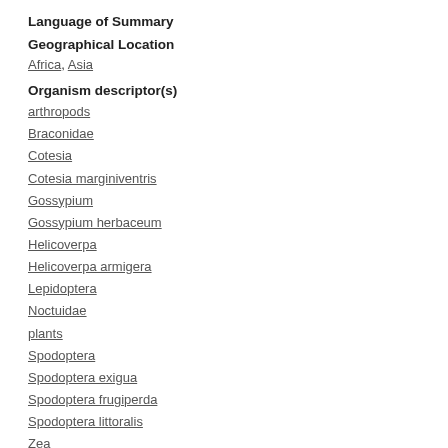Language of Summary
Geographical Location
Africa, Asia
Organism descriptor(s)
arthropods
Braconidae
Cotesia
Cotesia marginiventris
Gossypium
Gossypium herbaceum
Helicoverpa
Helicoverpa armigera
Lepidoptera
Noctuidae
plants
Spodoptera
Spodoptera exigua
Spodoptera frugiperda
Spodoptera littoralis
Zea
Zea mays
insects